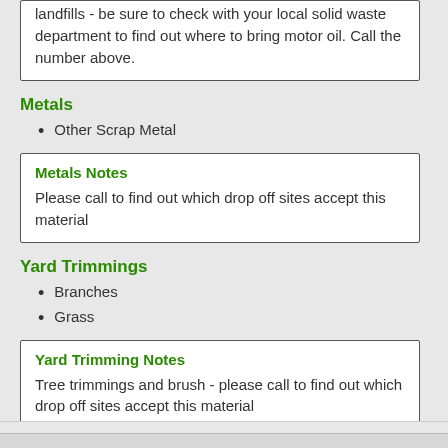landfills - be sure to check with your local solid waste department to find out where to bring motor oil. Call the number above.
Metals
Other Scrap Metal
Metals Notes
Please call to find out which drop off sites accept this material
Yard Trimmings
Branches
Grass
Yard Trimming Notes
Tree trimmings and brush - please call to find out which drop off sites accept this material